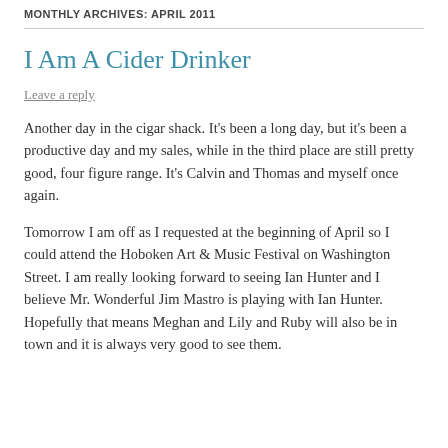MONTHLY ARCHIVES: APRIL 2011
I Am A Cider Drinker
Leave a reply
Another day in the cigar shack. It's been a long day, but it's been a productive day and my sales, while in the third place are still pretty good, four figure range. It's Calvin and Thomas and myself once again.
Tomorrow I am off as I requested at the beginning of April so I could attend the Hoboken Art & Music Festival on Washington Street. I am really looking forward to seeing Ian Hunter and I believe Mr. Wonderful Jim Mastro is playing with Ian Hunter. Hopefully that means Meghan and Lily and Ruby will also be in town and it is always very good to see them.